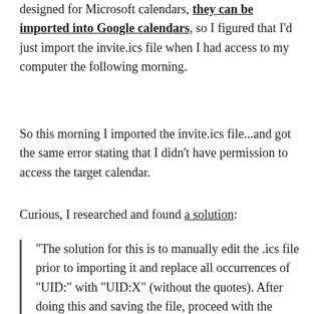designed for Microsoft calendars, they can be imported into Google calendars, so I figured that I'd just import the invite.ics file when I had access to my computer the following morning.
So this morning I imported the invite.ics file...and got the same error stating that I didn't have permission to access the target calendar.
Curious, I researched and found a solution:
“The solution for this is to manually edit the .ics file prior to importing it and replace all occurrences of “UID:” with “UID:X” (without the quotes). After doing this and saving the file, proceed with the import and all should be fine.”